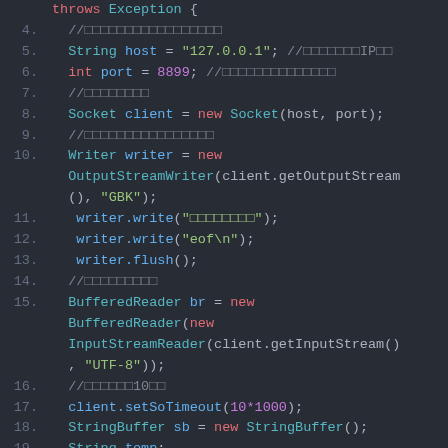[Figure (screenshot): Code editor screenshot showing Java source code lines 4-20, with syntax highlighting on a dark background. Keywords in red/cyan, strings in green, numbers in purple, comments in gray.]